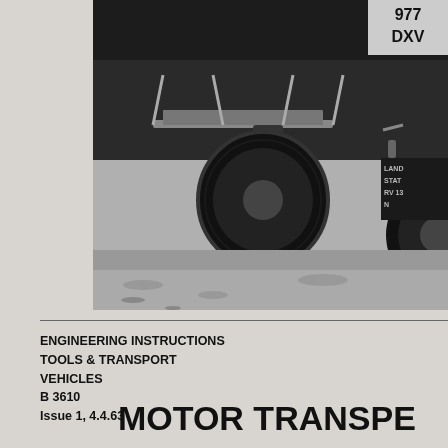[Figure (photo): Black and white photograph of the rear of a Land Rover vehicle with registration plate '977 DXV', showing the undercarriage, rear wheel, and a partially visible sign on the right reading 'LAND... STAT... RV13... N']
ENGINEERING INSTRUCTIONS
TOOLS & TRANSPORT
VEHICLES
B 3610
Issue 1, 4.4.63
MOTOR TRANSPORT